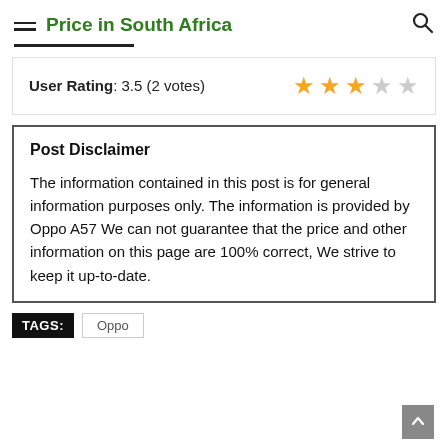Price in South Africa
User Rating: 3.5 (2 votes)
Post Disclaimer
The information contained in this post is for general information purposes only. The information is provided by Oppo A57 We can not guarantee that the price and other information on this page are 100% correct, We strive to keep it up-to-date.
TAGS: Oppo